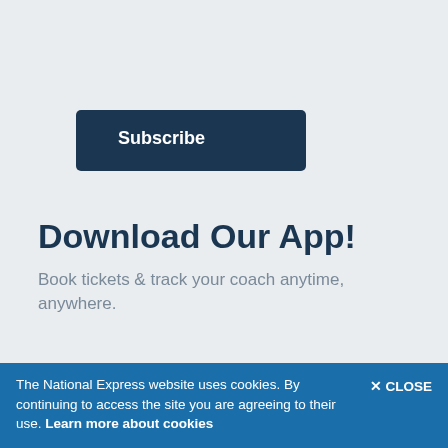[Figure (other): Subscribe button — dark navy rectangle with white bold text 'Subscribe']
Download Our App!
Book tickets & track your coach anytime, anywhere.
Accessibility
Affiliates
Career opportunities
Coach hire
Our commitment to the environment
Passenger rights
Press room
The National Express website uses cookies. By continuing to access the site you are agreeing to their use. Learn more about cookies